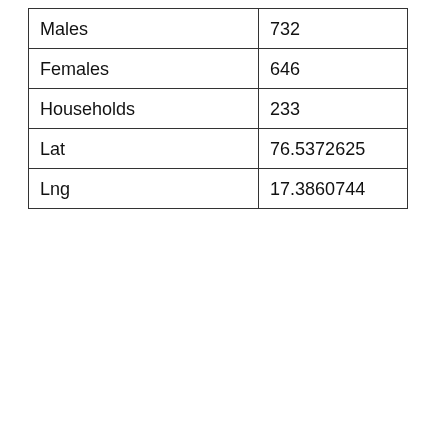| Males | 732 |
| Females | 646 |
| Households | 233 |
| Lat | 76.5372625 |
| Lng | 17.3860744 |